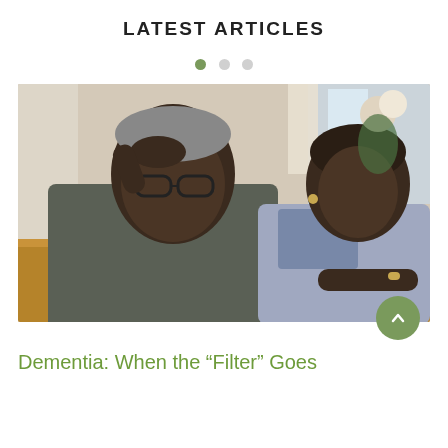LATEST ARTICLES
[Figure (photo): An elderly Black man sitting at a table, hand on forehead looking stressed, with an elderly Black woman beside him looking at papers. A coffee cup is on the table.]
Dementia: When the “Filter” Goes